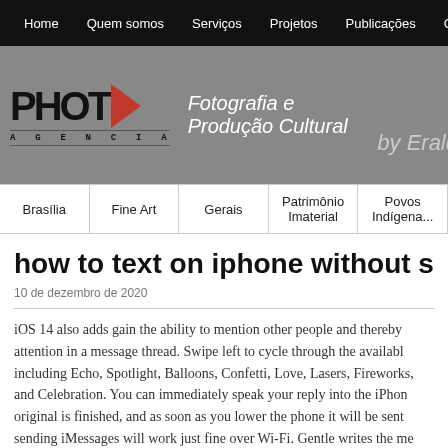Home | Quem somos | Serviços | Projetos | Publicações | Contatos
[Figure (logo): PHOTO Agência logo with red triangle, tagline Fotografia e Produção Cultural, by Eraldo]
Brasília | Fine Art | Gerais | Patrimônio Imaterial | Povos Indígenas
how to text on iphone without service
10 de dezembro de 2020
iOS 14 also adds gain the ability to mention other people and thereby attention in a message thread. Swipe left to cycle through the available including Echo, Spotlight, Balloons, Confetti, Love, Lasers, Fireworks, and Celebration. You can immediately speak your reply into the iPhone original is finished, and as soon as you lower the phone it will be sent sending iMessages will work just fine over Wi-Fi. Gentle writes the me font and then slowly reverts back to the default size font. Karen Hasla